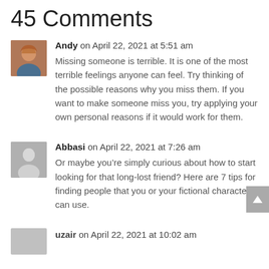45 Comments
Andy on April 22, 2021 at 5:51 am
Missing someone is terrible. It is one of the most terrible feelings anyone can feel. Try thinking of the possible reasons why you miss them. If you want to make someone miss you, try applying your own personal reasons if it would work for them.
Abbasi on April 22, 2021 at 7:26 am
Or maybe you're simply curious about how to start looking for that long-lost friend? Here are 7 tips for finding people that you or your fictional character can use.
uzair on April 22, 2021 at 10:02 am